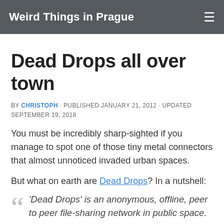Weird Things in Prague
Dead Drops all over town
BY CHRISTOPH · PUBLISHED JANUARY 21, 2012 · UPDATED SEPTEMBER 19, 2018
You must be incredibly sharp-sighted if you manage to spot one of those tiny metal connectors that almost unnoticed invaded urban spaces.
But what on earth are Dead Drops? In a nutshell:
'Dead Drops' is an anonymous, offline, peer to peer file-sharing network in public space.
More precisely, Dead Drops are USB keys that are cemented into walls or firmly attached to other immovable items, like bridges, walls, or iron railings, and